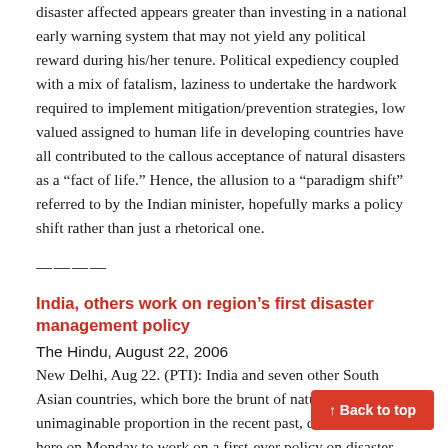disaster affected appears greater than investing in a national early warning system that may not yield any political reward during his/her tenure. Political expediency coupled with a mix of fatalism, laziness to undertake the hardwork required to implement mitigation/prevention strategies, low valued assigned to human life in developing countries have all contributed to the callous acceptance of natural disasters as a “fact of life.” Hence, the allusion to a “paradigm shift” referred to by the Indian minister, hopefully marks a policy shift rather than just a rhetorical one.
————
India, others work on region’s first disaster management policy
The Hindu, August 22, 2006
New Delhi, Aug 22. (PTI): India and seven other South Asian countries, which bore the brunt of nature’s fury in an unimaginable proportion in the recent past, came together here on Monday to work on a first-ever policy on disaster